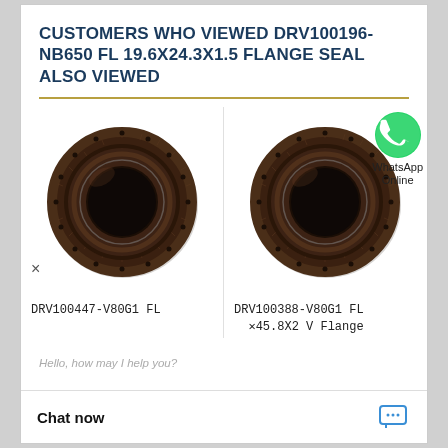CUSTOMERS WHO VIEWED DRV100196-NB650 FL 19.6X24.3X1.5 FLANGE SEAL ALSO VIEWED
[Figure (photo): Flange seal product photo - DRV100447-V80G1 FL, circular rubber seal ring viewed from above]
[Figure (photo): Flange seal product photo - DRV100388-V80G1 FL, circular rubber seal ring viewed from above, with WhatsApp Online badge overlay]
DRV100447-V80G1 FL
DRV100388-V80G1 FL
45.8X2 V Flange
Hello, how may I help you?
Chat now